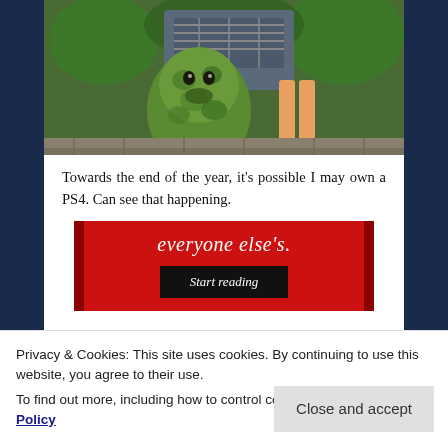[Figure (illustration): Animated scene showing a large green mossy creature standing in front of a car, with a person's legs visible behind it, surrounded by green foliage.]
Towards the end of the year, it's possible I may own a PS4.  Can see that happening.
[Figure (other): Advertisement banner with red background showing text 'everyone else's.' and a 'Start reading' button.]
Privacy & Cookies: This site uses cookies. By continuing to use this website, you agree to their use.
To find out more, including how to control cookies, see here: Cookie Policy